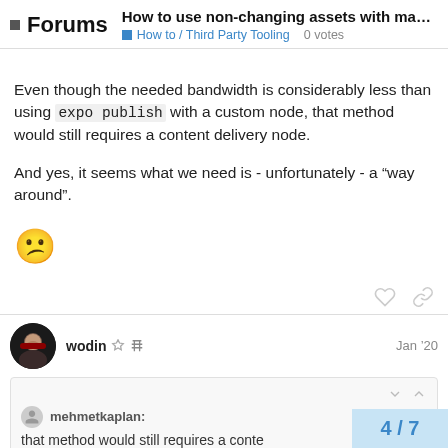Forums — How to use non-changing assets with ma... | How to / Third Party Tooling  0 votes
Even though the needed bandwidth is considerably less than using expo publish with a custom node, that method would still requires a content delivery node.

And yes, it seems what we need is - unfortunately - a “way around”.

😕
wodin  Jan '20
mehmetkaplan:

that method would still requires a conte
4 / 7